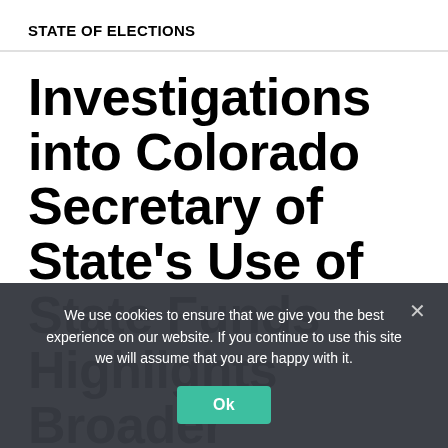STATE OF ELECTIONS
Investigations into Colorado Secretary of State's Use of State Funds Highlights Broader Concern about
We use cookies to ensure that we give you the best experience on our website. If you continue to use this site we will assume that you are happy with it.